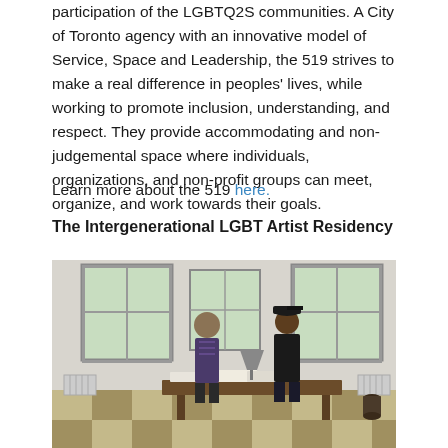participation of the LGBTQ2S communities. A City of Toronto agency with an innovative model of Service, Space and Leadership, the 519 strives to make a real difference in peoples' lives, while working to promote inclusion, understanding, and respect. They provide accommodating and non-judgemental space where individuals, organizations, and non-profit groups can meet, organize, and work towards their goals.
Learn more about the 519 here.
The Intergenerational LGBT Artist Residency
[Figure (photo): Two people standing in a bright studio space with large windows, conversing across a wooden table covered with papers and art materials. The room has white walls and a checkered floor.]